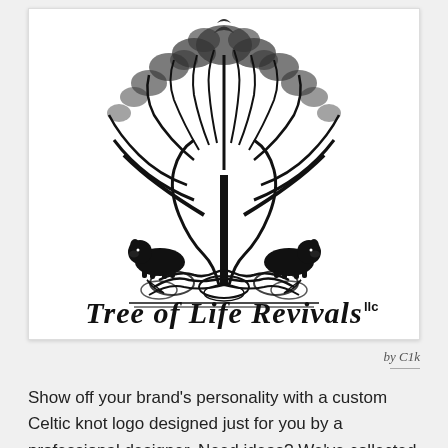[Figure (logo): Tree of Life Revivals LLC logo: a detailed Celtic-style tree of life illustration with two dogs sitting at its base among intertwined roots and knots, with the text 'Tree of Life Revivals llc' in decorative script font below]
by C1k
Show off your brand's personality with a custom Celtic knot logo designed just for you by a professional designer. Need ideas? We've collected